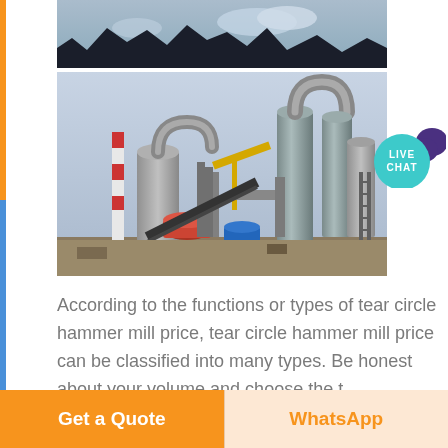[Figure (photo): Top portion showing dark silhouette of quarry/mining landscape against a partly cloudy sky]
[Figure (photo): Industrial hammer mill / grinding mill equipment facility with large cylindrical tanks, conveyor belts, pipes, and structural steel frames against a hazy sky. A chimney with red and white stripes is visible in the background.]
According to the functions or types of tear circle hammer mill price, tear circle hammer mill price can be classified into many types. Be honest about your volume and choose the t
Get a Quote
WhatsApp